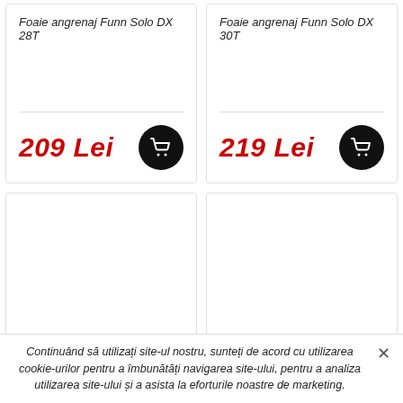Foaie angrenaj Funn Solo DX 28T
209 Lei
Foaie angrenaj Funn Solo DX 30T
219 Lei
Continuând să utilizați site-ul nostru, sunteți de acord cu utilizarea cookie-urilor pentru a îmbunătăți navigarea site-ului, pentru a analiza utilizarea site-ului și a asista la eforturile noastre de marketing.